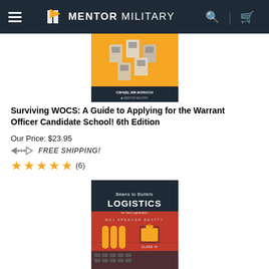Mentor Military
[Figure (photo): Book cover: Surviving WOCS on orange background with military vehicles, CW4(B) Jim Boroch, Mentor Military]
Surviving WOCS: A Guide to Applying for the Warrant Officer Candidate School! 6th Edition
Our Price: $23.95
FREE SHIPPING!
★★★★★ (6)
[Figure (photo): Book cover: Beans to Bullets LOGISTICS for Non-Logisticians, MAJ Spencer Beatty, red and black cover with bullet and fuel can graphics]